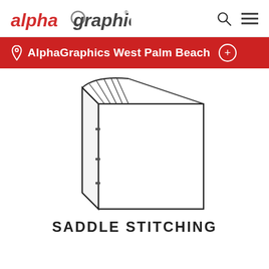alphagraphics
AlphaGraphics West Palm Beach
[Figure (illustration): Line drawing of a saddle-stitched booklet/magazine showing the front cover and spine with stitching marks]
SADDLE STITCHING